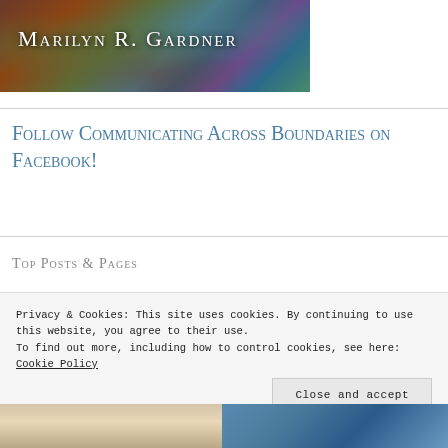[Figure (photo): Header banner image with colorful mosaic/tile background with the name Marilyn R. Gardner displayed in white small-caps serif text]
Follow Communicating Across Boundaries on Facebook!
Top Posts & Pages
Privacy & Cookies: This site uses cookies. By continuing to use this website, you agree to their use.
To find out more, including how to control cookies, see here: Cookie Policy
Close and accept
[Figure (photo): Two thumbnail images at the bottom of the page - left appears to be a beige/tan colored image, right appears to be a blue toned image]